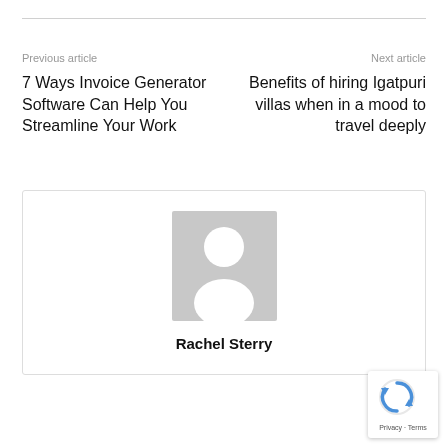Previous article
Next article
7 Ways Invoice Generator Software Can Help You Streamline Your Work
Benefits of hiring Igatpuri villas when in a mood to travel deeply
[Figure (illustration): Author profile placeholder with generic avatar silhouette (grey background, white person icon)]
Rachel Sterry
[Figure (logo): reCAPTCHA badge with spinning arrows logo and Privacy - Terms text]